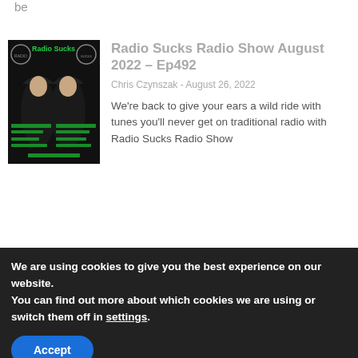be
[Figure (photo): Radio Sucks Radio Show podcast cover thumbnail showing two women with green text and logos]
Radio Sucks Radio Show August 2022 – Ep492
Chris Czynszak - August 26, 2022
We're back to give your ears a wild ride with tunes you'll never get on traditional radio with Radio Sucks Radio Show
[Figure (other): Gray background section with faint white zigzag/chevron line pattern]
We are using cookies to give you the best experience on our website.
You can find out more about which cookies we are using or switch them off in settings.
Accept